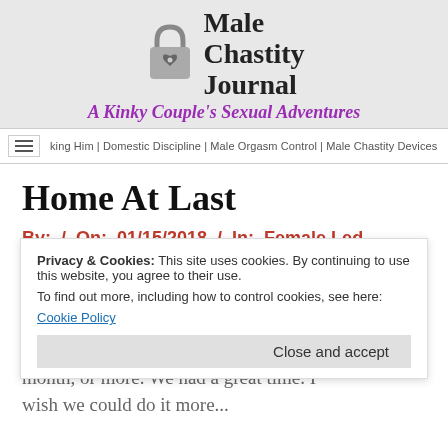Male Chastity Journal
A Kinky Couple's Sexual Adventures
king Him | Domestic Discipline | Male Orgasm Control | Male Chastity Devices
Home At Last
By:  /  On: 01/15/2018  /  In: Female Led Relationship With Discipline, Lion's Journal  /  With: 0 Comments
We fly home today. I'm ready! We've done more walking than I usually do in a month, or more. We had a great time. I wish we could do it more...
Privacy & Cookies: This site uses cookies. By continuing to use this website, you agree to their use.
To find out more, including how to control cookies, see here: Cookie Policy
Close and accept